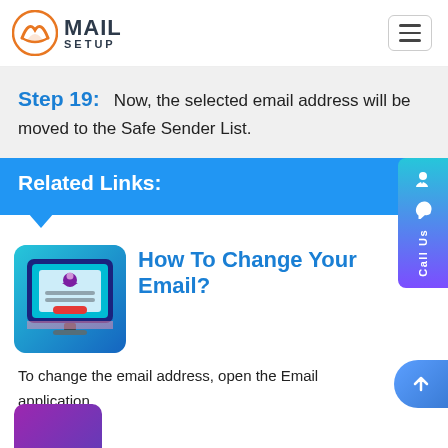MAIL SETUP
Step 19: Now, the selected email address will be moved to the Safe Sender List.
Related Links:
[Figure (illustration): Computer monitor displaying an email account screen with user profile icon, form fields, and a red button, rendered in teal/blue gradient style]
How To Change Your Email?
To change the email address, open the Email application.